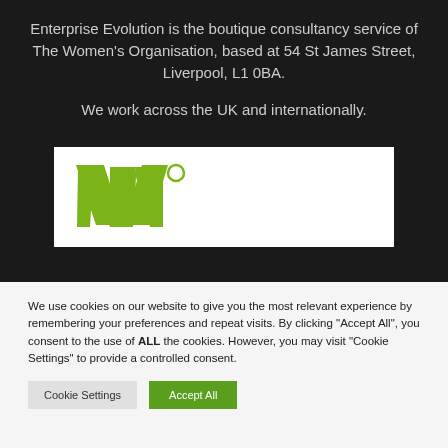Enterprise Evolution is the boutique consultancy service of The Women's Organisation, based at 54 St James Street, Liverpool, L1 0BA.
We work across the UK and internationally.
[Figure (logo): The Women's Organisation green W logo on white background]
We use cookies on our website to give you the most relevant experience by remembering your preferences and repeat visits. By clicking "Accept All", you consent to the use of ALL the cookies. However, you may visit "Cookie Settings" to provide a controlled consent.